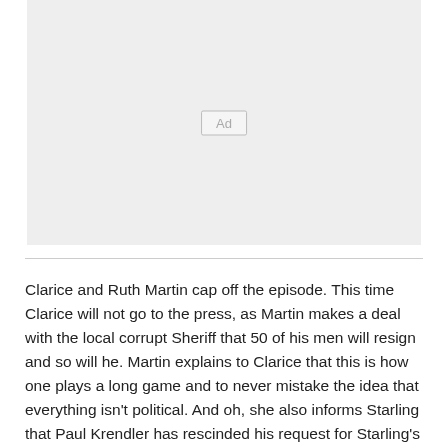[Figure (other): Advertisement placeholder box with 'Ad' label in center]
Clarice and Ruth Martin cap off the episode. This time Clarice will not go to the press, as Martin makes a deal with the local corrupt Sheriff that 50 of his men will resign and so will he. Martin explains to Clarice that this is how one plays a long game and to never mistake the idea that everything isn't political. And oh, she also informs Starling that Paul Krendler has rescinded his request for Starling's reassignment. Then after Martin also inquires, Clarice explains that she lost her Sheriff father, who